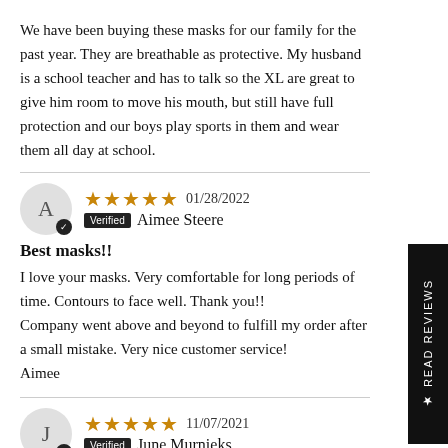We have been buying these masks for our family for the past year. They are breathable as protective. My husband is a school teacher and has to talk so the XL are great to give him room to move his mouth, but still have full protection and our boys play sports in them and wear them all day at school.
★★★★★ 01/28/2022 Verified Aimee Steere
Best masks!!
I love your masks. Very comfortable for long periods of time. Contours to face well. Thank you!!
Company went above and beyond to fulfill my order after a small mistake. Very nice customer service!
Aimee
★★★★★ 11/07/2021 Verified June Murnieks